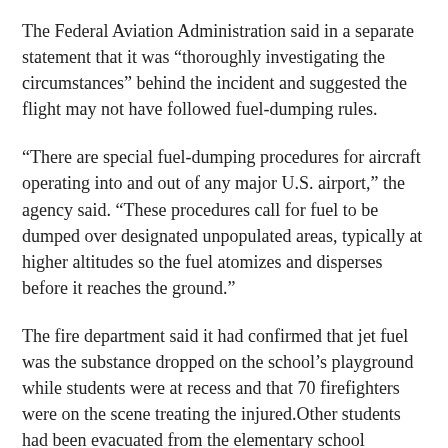The Federal Aviation Administration said in a separate statement that it was “thoroughly investigating the circumstances” behind the incident and suggested the flight may not have followed fuel-dumping rules.
“There are special fuel-dumping procedures for aircraft operating into and out of any major U.S. airport,” the agency said. “These procedures call for fuel to be dumped over designated unpopulated areas, typically at higher altitudes so the fuel atomizes and disperses before it reaches the ground.”
The fire department said it had confirmed that jet fuel was the substance dropped on the school’s playground while students were at recess and that 70 firefighters were on the scene treating the injured. Other students had been evacuated from the elementary school